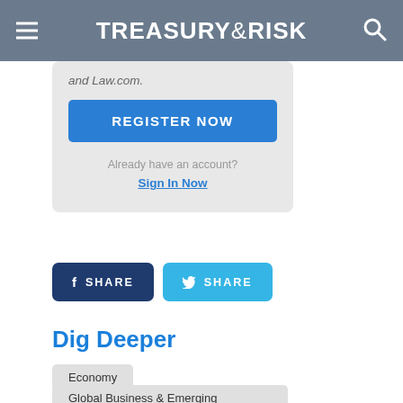TREASURY&RISK
and Law.com.
REGISTER NOW
Already have an account?
Sign In Now
[Figure (screenshot): Facebook and Twitter SHARE buttons]
Dig Deeper
Economy
Global Business & Emerging